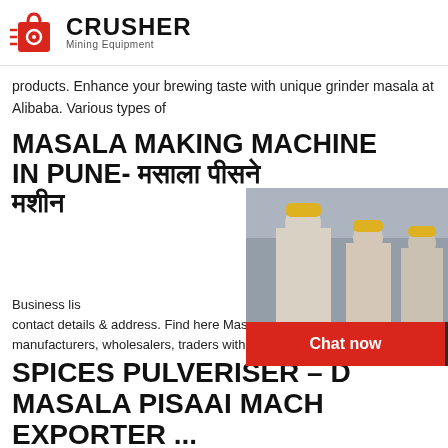CRUSHER Mining Equipment
products. Enhance your brewing taste with unique grinder masala at Alibaba. Various types of
MASALA MAKING MACHINE IN PUNE- मसाला पीसने मशीन
[Figure (screenshot): Live chat popup overlay showing workers in hard hats, LIVE CHAT heading in red, Click for a Free Consultation text, Chat now and Chat later buttons, and a customer service agent with headset on the right side.]
Business listing of Masala Making Machine manufacturers, suppliers and exporters. Pulverizer manufacturers, Masala Pulverizer in Pune. मसाला पिसाई मशीन contact details & address. Find here Masala Making Machine, Masala Pulverizer, Spices Pulverizer, suppliers, wholesalers, manufacturers, wholesalers, traders with Masala
SPICES PULVERISER – DESHI MASALA PISAAI MACHINE EXPORTER ...